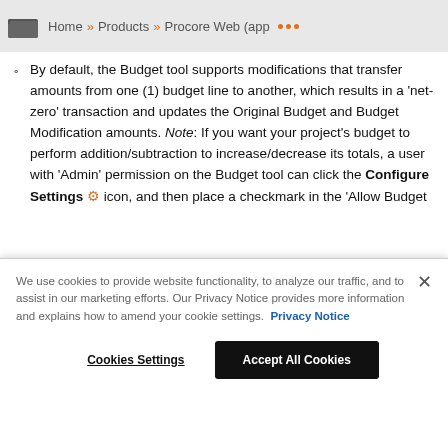cannot be edited or deleted & limitations)
Home » Products » Procore Web (app ...
By default, the Budget tool supports modifications that transfer amounts from one (1) budget line to another, which results in a 'net-zero' transaction and updates the Original Budget and Budget Modification amounts. Note: If you want your project's budget to perform addition/subtraction to increase/decrease its totals, a user with 'Admin' permission on the Budget tool can click the Configure Settings [gear] icon, and then place a checkmark in the 'Allow Budget
We use cookies to provide website functionality, to analyze our traffic, and to assist in our marketing efforts. Our Privacy Notice provides more information and explains how to amend your cookie settings. Privacy Notice
Cookies Settings
Accept All Cookies